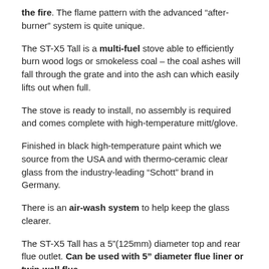the fire. The flame pattern with the advanced “after-burner” system is quite unique.
The ST-X5 Tall is a multi-fuel stove able to efficiently burn wood logs or smokeless coal – the coal ashes will fall through the grate and into the ash can which easily lifts out when full.
The stove is ready to install, no assembly is required and comes complete with high-temperature mitt/glove.
Finished in black high-temperature paint which we source from the USA and with thermo-ceramic clear glass from the industry-leading “Schott” brand in Germany.
There is an air-wash system to help keep the glass clearer.
The ST-X5 Tall has a 5”(125mm) diameter top and rear flue outlet. Can be used with 5” diameter flue liner or twin-wall flue.